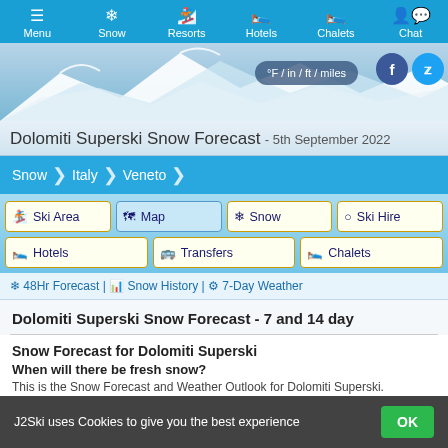Menu | Snow | Resorts | Hotels | Chalets | Chat
[Figure (screenshot): Hero banner with snowy mountain background, °F/in/ft/miles toggle button, Facebook and Twitter social icons]
Dolomiti Superski Snow Forecast - 5th September 2022
Snow > Italy > Veneto
Ski Area | Map | Snow | Ski Hire | Hotels | Transfers | Chalets
❄ 48Hr Forecast | 📊 Snow History | ⚙ 7-Day Weather
Dolomiti Superski Snow Forecast - 7 and 14 day
Snow Forecast for Dolomiti Superski
When will there be fresh snow?
This is the Snow Forecast and Weather Outlook for Dolomiti Superski.
J2Ski uses Cookies to give you the best experience  OK